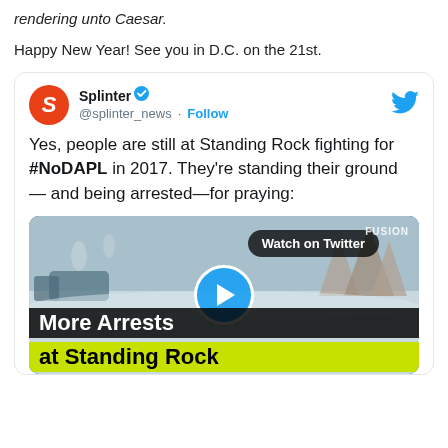rendering unto Caesar.
Happy New Year! See you in D.C. on the 21st.
[Figure (screenshot): Embedded tweet from @splinter_news (Splinter) with verified badge and Follow button. Tweet text: 'Yes, people are still at Standing Rock fighting for #NoDAPL in 2017. They're standing their ground — and being arrested—for praying:' with a video thumbnail showing a snowy camp scene labeled 'More Arrests at Standing Rock' with a play button and Watch on Twitter button.]